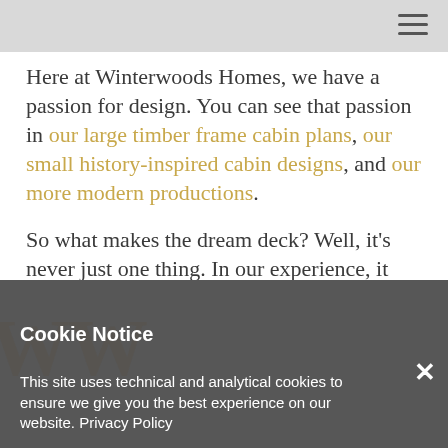Here at Winterwoods Homes, we have a passion for design. You can see that passion in our large timber frame cabin plans, our small history-inspired cabin designs, and our more modern productions.
So what makes the dream deck? Well, it’s never just one thing. In our experience, it could be any and all of the following:
Cookie Notice
This site uses technical and analytical cookies to ensure we give you the best experience on our website. Privacy Policy